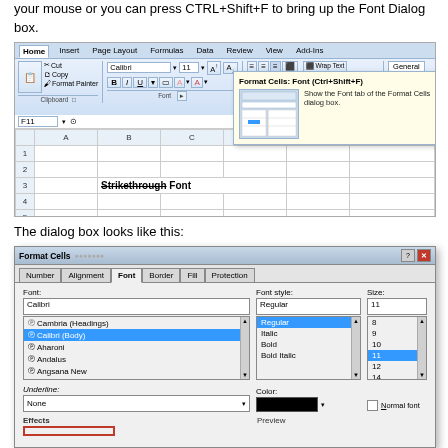your mouse or you can press CTRL+Shift+F to bring up the Font Dialog box.
[Figure (screenshot): Screenshot of Microsoft Excel ribbon showing the Font dialog launcher tooltip with 'Format Cells: Font (Ctrl+Shift+F)' popup, and a spreadsheet cell containing 'Strikethrough Font' text with strikethrough formatting.]
The dialog box looks like this:
[Figure (screenshot): Screenshot of the Format Cells dialog box with Font tab selected, showing Font list (Calibri Body selected), Font style list (Regular selected), Size list (11 selected), Underline dropdown (None), Color swatch (black), Normal font checkbox, Effects section highlighted in red, and Preview section.]